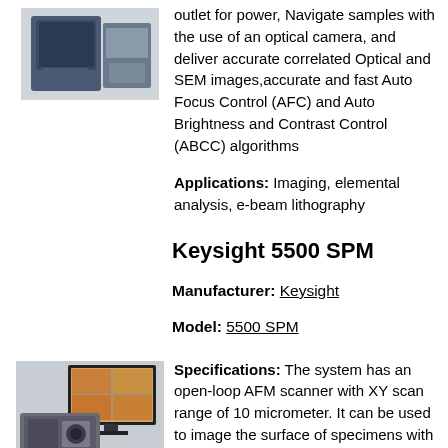[Figure (photo): Photo of a scanning electron microscope instrument (partial top view)]
outlet for power, Navigate samples with the use of an optical camera, and deliver accurate correlated Optical and SEM images,accurate and fast Auto Focus Control (AFC) and Auto Brightness and Contrast Control (ABCC) algorithms
Applications: Imaging, elemental analysis, e-beam lithography
Keysight 5500 SPM
Manufacturer: Keysight
Model: 5500 SPM
[Figure (photo): Photo of Keysight 5500 SPM instrument with monitor displaying scan images]
Specifications: The system has an open-loop AFM scanner with XY scan range of 10 micrometer. It can be used to image the surface of specimens with